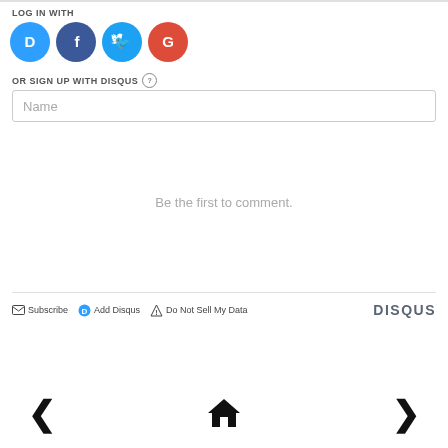LOG IN WITH
[Figure (logo): Social login icons: Disqus (blue circle with D), Facebook (dark blue circle with f), Twitter (light blue circle with bird), Google (red circle with G)]
OR SIGN UP WITH DISQUS ?
Name
Be the first to comment.
Subscribe  Add Disqus  Do Not Sell My Data  DISQUS
[Figure (infographic): Navigation bar with left arrow, home icon, and right arrow]